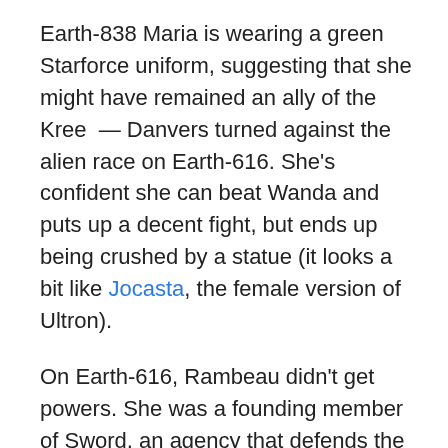Earth-838 Maria is wearing a green Starforce uniform, suggesting that she might have remained an ally of the Kree — Danvers turned against the alien race on Earth-616. She's confident she can beat Wanda and puts up a decent fight, but ends up being crushed by a statue (it looks a bit like Jocasta, the female version of Ultron).
On Earth-616, Rambeau didn't get powers. She was a founding member of Sword, an agency that defends the planet against extraterrestrial and extra-dimensional threats, and died of cancer sometime after Thanos' genocidal Snap. Her daughter Monica gained energy based powers during the events of WandaVision, suggesting the Rambeaus are destined for